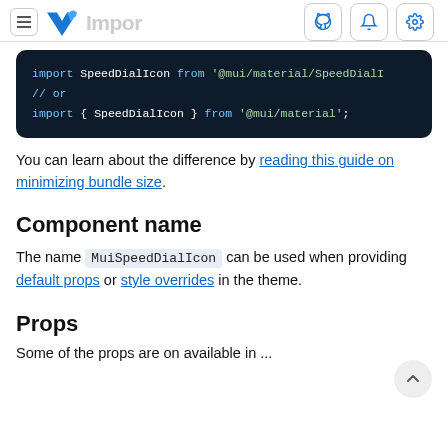import [MUI logo]
[Figure (screenshot): Code block showing: import SpeedDialIcon from '@mui/material/SpeedDialI // or import { SpeedDialIcon } from '@mui/material';]
You can learn about the difference by reading this guide on minimizing bundle size.
Component name
The name MuiSpeedDialIcon can be used when providing default props or style overrides in the theme.
Props
Some of the props are on available in ...